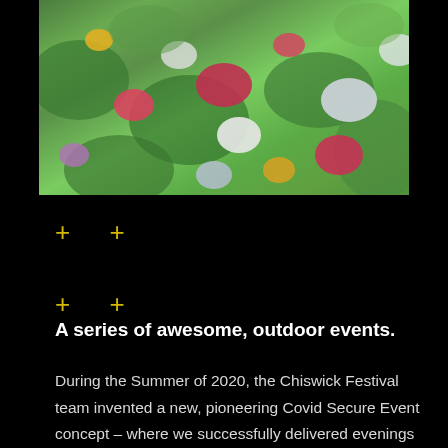[Figure (photo): Close-up photograph of a wildflower garden with pink, red, yellow, white, and purple flowers amid green foliage, shot in bright sunlight]
+ +
+ +
A series of awesome, outdoor events.
During the Summer of 2020, the Chiswick Festival team invented a new, pioneering Covid Secure Event concept – where we successfully delivered evenings of jazz,